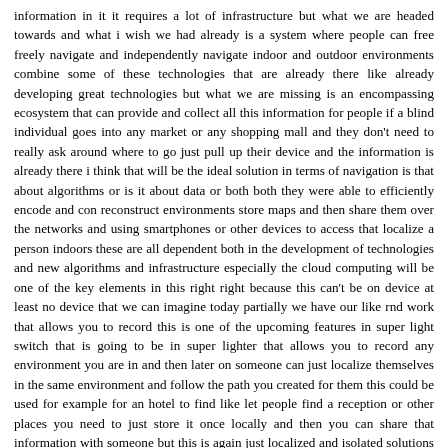information in it it requires a lot of infrastructure but what we are headed towards and what i wish we had already is a system where people can free freely navigate and independently navigate indoor and outdoor environments combine some of these technologies that are already there like already developing great technologies but what we are missing is an encompassing ecosystem that can provide and collect all this information for people if a blind individual goes into any market or any shopping mall and they don't need to really ask around where to go just pull up their device and the information is already there i think that will be the ideal solution in terms of navigation is that about algorithms or is it about data or both both they were able to efficiently encode and con reconstruct environments store maps and then share them over the networks and using smartphones or other devices to access that localize a person indoors these are all dependent both in the development of technologies and new algorithms and infrastructure especially the cloud computing will be one of the key elements in this right right because this can't be on device at least no device that we can imagine today partially we have our like rnd work that allows you to record this is one of the upcoming features in super light switch that is going to be in super lighter that allows you to record any environment you are in and then later on someone can just localize themselves in the same environment and follow the path you created for them this could be used for example for an hotel to find like let people find a reception or other places you need to just store it once locally and then you can share that information with someone but this is again just localized and isolated solutions for it to be a general uh sort of task solver we need more connected and cloud computing well the very very cheerful and helpful staff at trader joe's would really welcome this at least when my wife walks in the door so a great advantage um that's really fascinating and i promised at the start of the show of this of this panel that i'd let each of you ask one question uh uh of one of the other panelists or both panelists and we this has to be the